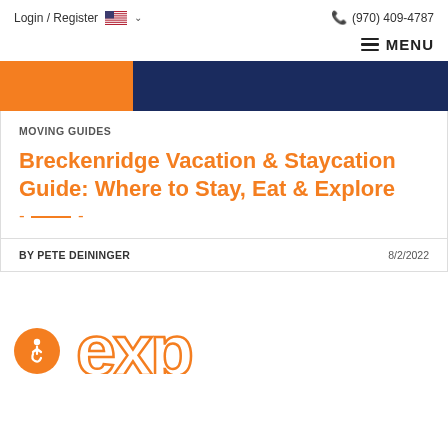Login / Register  (970) 409-4787
MENU
[Figure (photo): Hero image with orange and dark navy blue banner, partial photo visible]
MOVING GUIDES
Breckenridge Vacation & Staycation Guide: Where to Stay, Eat & Explore -
BY PETE DEININGER  8/2/2022
[Figure (logo): Accessibility icon (wheelchair user in orange circle) and 'exp' logo text in orange outline]